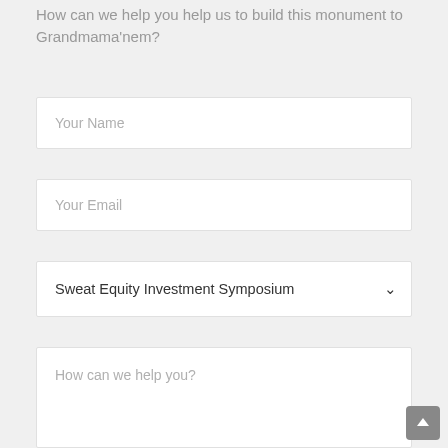How can we help you help us to build this monument to Grandmama'nem?
Your Name
Your Email
Sweat Equity Investment Symposium
How can we help you?